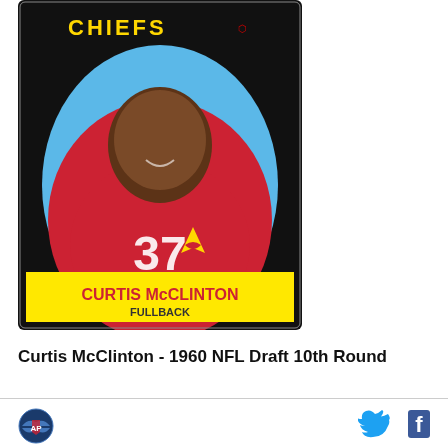[Figure (photo): Vintage football trading card showing Curtis McClinton in a red Kansas City Chiefs jersey, number 37, posed in an oval portrait. Yellow banner at bottom reads 'CURTIS McCLINTON FULLBACK'. Black border with team name at top.]
Curtis McClinton - 1960 NFL Draft 10th Round
[Figure (logo): SB Nation / Arrowhead Pride logo - circular blue badge with eagle/wings design]
[Figure (logo): Twitter bird icon in blue]
[Figure (logo): Facebook 'f' icon in blue]